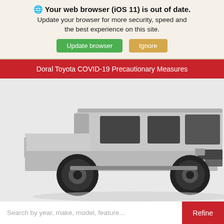🌐 Your web browser (iOS 11) is out of date. Update your browser for more security, speed and the best experience on this site. Update browser | Ignore
Doral Toyota COVID-19 Precautionary Measures
[Figure (photo): Silver Toyota Tacoma pickup truck viewed from a three-quarter front angle, with black wheels and trim, on a white/light grey background. A search bar with 'Search by year, make, model, feature...' placeholder and a red 'Refine' button overlays the lower portion of the image.]